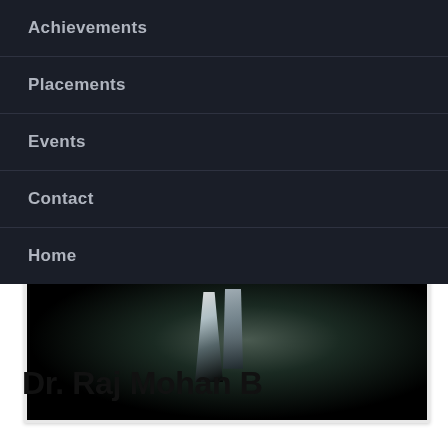Achievements
Placements
Events
Contact
Home
[Figure (photo): A close-up photograph of a person wearing a suit and tie, mostly dark with highlights on the tie area]
Dr. Raj Mohan B